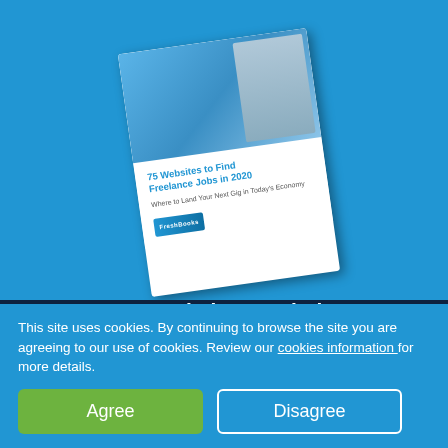[Figure (illustration): A book cover for '75 Websites to Find Freelance Jobs in 2020 - Where to Land Your Next Gig in Today's Economy' shown at an angle on a blue background]
75 Websites to Find Freelance Jobs in 2020
Where to Land Your Next Gig in Today's Economy
Download eBook
This site uses cookies. By continuing to browse the site you are agreeing to our use of cookies. Review our cookies information for more details.
Agree
Disagree